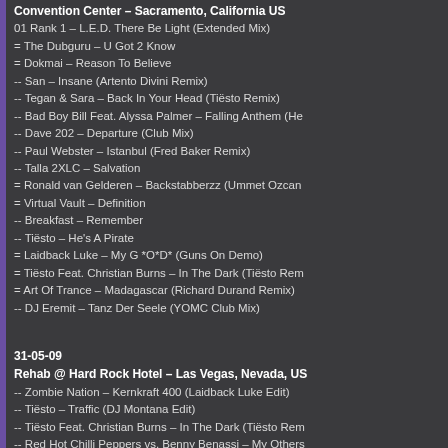Convention Center – Sacramento, California US
01 Rank 1 – L.E.D. There Be Light (Extended Mix)
= The Dubguru – U Got 2 Know
= Dokmai – Reason To Believe
-- San – Insane (Artento Divini Remix)
-- Tegan & Sara – Back In Your Head (Tiësto Remix)
-- Bad Boy Bill Feat. Alyssa Palmer – Falling Anthem (He
-- Dave 202 – Departure (Club Mix)
-- Paul Webster – Istanbul (Fred Baker Remix)
-- Talla 2XLC – Salvation
= Ronald van Gelderen – Backstabberzz (Ummet Ozcan
= Virtual Vault – Definition
-- Breakfast – Remember
-- Tiësto – He's A Pirate
= Laidback Luke – My G *O*D* (Guns On Demo)
= Tiësto Feat. Christian Burns – In The Dark (Tiësto Rem
= Art Of Trance – Madagascar (Richard Durand Remix)
-- DJ Eremit – Tanz Der Seele (YOMC Club Mix)
31-05-09
Rehab @ Hard Rock Hotel – Las Vegas, Nevada, US
-- Zombie Nation – Kernkraft 400 (Laidback Luke Edit)
-- Tiësto – Traffic (DJ Montana Edit)
-- Tiësto Feat. Christian Burns – In The Dark (Tiësto Rem
-- Red Hot Chilli Peppers vs. Benny Benassi – My Others
-- Robbie Rivera Feat. Laura Vane – In Too Deep (Club M
-- Kings Of Leon – Use Somebody (Ali Wilson Remix)
-- Baldo & Marshall – Swahili Song
-- Paul Webster – Istanbul
-- Dokmai – Reason To Believe